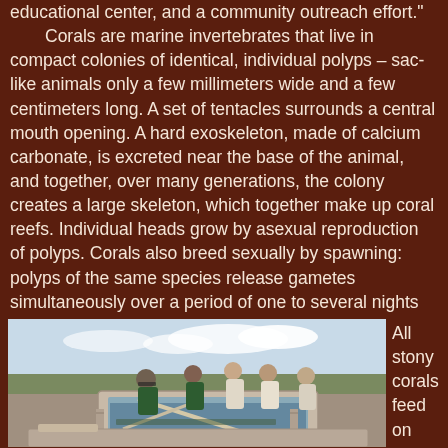educational center, and a community outreach effort." Corals are marine invertebrates that live in compact colonies of identical, individual polyps – sac-like animals only a few millimeters wide and a few centimeters long. A set of tentacles surrounds a central mouth opening. A hard exoskeleton, made of calcium carbonate, is excreted near the base of the animal, and together, over many generations, the colony creates a large skeleton, which together make up coral reefs. Individual heads grow by asexual reproduction of polyps. Corals also breed sexually by spawning: polyps of the same species release gametes simultaneously over a period of one to several nights around a full moon.
[Figure (photo): People working around water tanks outdoors, likely a coral aquaculture or research facility. Several individuals in green shirts and others in casual clothing are examining or working with equipment over large tanks. Background shows an open landscape with cloudy sky.]
All stony corals feed on